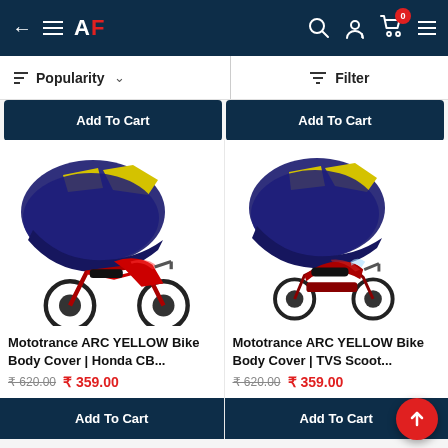AF — Navigation bar with back arrow, hamburger menu, AF logo, search, account, cart (0)
Popularity ∨   Filter
Add To Cart (top left)
Add To Cart (top right)
[Figure (photo): Mototrance ARC YELLOW Bike Body Cover shown with a Honda CB motorcycle — navy blue and yellow cover]
[Figure (photo): Mototrance ARC YELLOW Bike Body Cover shown with a TVS Scooter — navy blue and yellow cover]
Mototrance ARC YELLOW Bike Body Cover | Honda CB...
Mototrance ARC YELLOW Bike Body Cover | TVS Scoot...
₹ 620.00  ₹ 359.00
₹ 620.00  ₹ 359.00
Add To Cart
Add To Cart